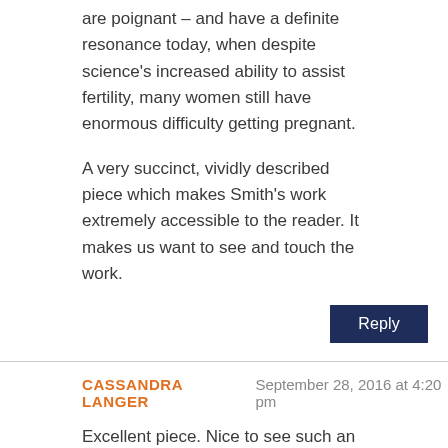are poignant – and have a definite resonance today, when despite science's increased ability to assist fertility, many women still have enormous difficulty getting pregnant.
A very succinct, vividly described piece which makes Smith's work extremely accessible to the reader. It makes us want to see and touch the work.
Reply
CASSANDRA LANGER   September 28, 2016 at 4:20 pm
Excellent piece. Nice to see such an intelligent explication of an artist whose work I have followed with interest for years.